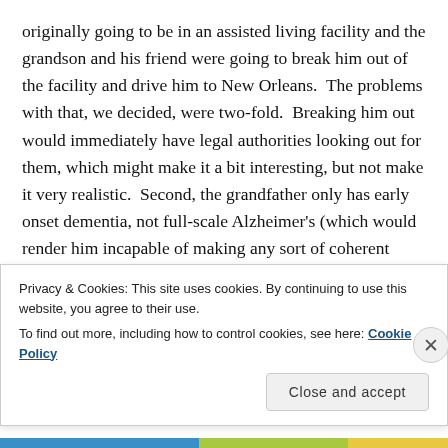originally going to be in an assisted living facility and the grandson and his friend were going to break him out of the facility and drive him to New Orleans.  The problems with that, we decided, were two-fold.  Breaking him out would immediately have legal authorities looking out for them, which might make it a bit interesting, but not make it very realistic.  Second, the grandfather only has early onset dementia, not full-scale Alzheimer's (which would render him incapable of making any sort of coherent communication), and because of that he would likely not be in an assisted living facility.
Privacy & Cookies: This site uses cookies. By continuing to use this website, you agree to their use.
To find out more, including how to control cookies, see here: Cookie Policy
Close and accept